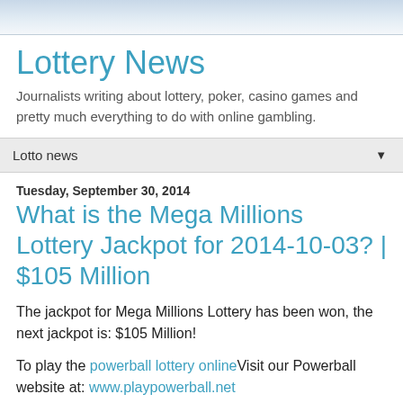Lottery News
Journalists writing about lottery, poker, casino games and pretty much everything to do with online gambling.
Lotto news
Tuesday, September 30, 2014
What is the Mega Millions Lottery Jackpot for 2014-10-03? | $105 Million
The jackpot for Mega Millions Lottery has been won, the next jackpot is: $105 Million!
To play the powerball lottery online Visit our Powerball website at: www.playpowerball.net
To play Megamillions online Visit our Mega Millions website at: www.playmegamillions.net